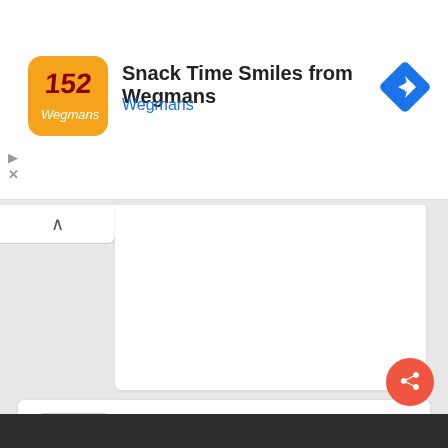[Figure (screenshot): Advertisement banner: Wegmans 'Snack Time Smiles from Wegmans' with orange app icon, blue navigation diamond icon on the right]
Snack Time Smiles from Wegmans
Wegmans
[Figure (screenshot): APK Downloader Chrome Web Store promotional card with Chrome logo]
APK Downloader
Available in the Chrome Web Store